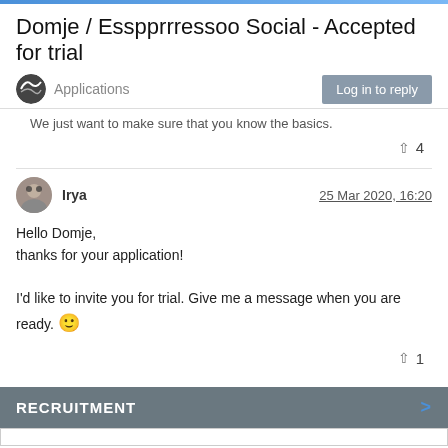Domje / Esspprressoo Social - Accepted for trial
Applications
Log in to reply
We just want to make sure that you know the basics.
4
Irya
25 Mar 2020, 16:20
Hello Domje,
thanks for your application!

I'd like to invite you for trial. Give me a message when you are ready. 🙂
1
RECRUITMENT